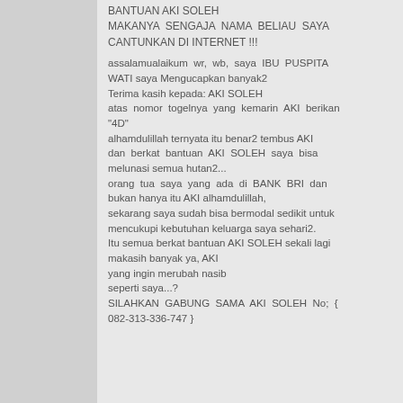BANTUAN AKI SOLEH MAKANYA SENGAJA NAMA BELIAU SAYA CANTUNKAN DI INTERNET !!!
assalamualaikum wr, wb, saya IBU PUSPITA WATI saya Mengucapkan banyak2 Terima kasih kepada: AKI SOLEH atas nomor togelnya yang kemarin AKI berikan "4D" alhamdulillah ternyata itu benar2 tembus AKI dan berkat bantuan AKI SOLEH saya bisa melunasi semua hutan2... orang tua saya yang ada di BANK BRI dan bukan hanya itu AKI alhamdulillah, sekarang saya sudah bisa bermodal sedikit untuk mencukupi kebutuhan keluarga saya sehari2. Itu semua berkat bantuan AKI SOLEH sekali lagi makasih banyak ya, AKI yang ingin merubah nasib seperti saya...? SILAHKAN GABUNG SAMA AKI SOLEH No; { 082-313-336-747 }